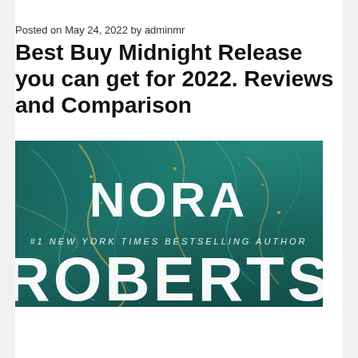Posted on May 24, 2022 by adminmr
Best Buy Midnight Release you can get for 2022. Reviews and Comparison
[Figure (photo): Book cover showing 'Nora Roberts' with '#1 New York Times Bestselling Author' text on a teal/green marble background with gold accents, partial view showing 'ROBERTS' at the bottom]